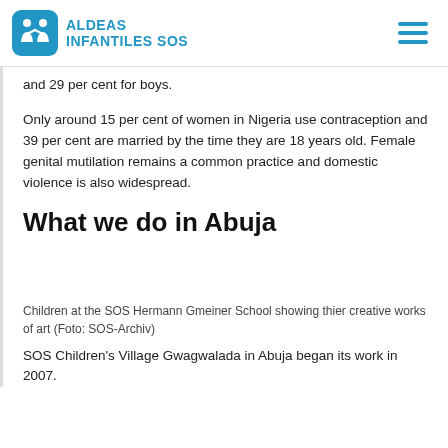ALDEAS INFANTILES SOS
and 29 per cent for boys.
Only around 15 per cent of women in Nigeria use contraception and 39 per cent are married by the time they are 18 years old. Female genital mutilation remains a common practice and domestic violence is also widespread.
What we do in Abuja
Children at the SOS Hermann Gmeiner School showing thier creative works of art (Foto: SOS-Archiv)
SOS Children's Village Gwagwalada in Abuja began its work in 2007.